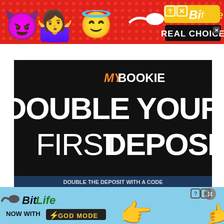[Figure (infographic): BitLife mobile game advertisement banner with red polka-dot background, devil emoji, woman shrug emoji, angel emoji, sperm logo, BitLife logo in yellow, and 'REAL CHOICE' text in black box]
[Figure (infographic): MyBookie sports betting advertisement on black background with orange 'MY' and white 'BOOKIE' logo, and large white bold text reading 'DOUBLE YOUR FIRST DEPOSIT']
[Figure (infographic): BitLife mobile game advertisement banner on light blue background with sperm logo, BitLife text, 'NOW WITH GOD MODE' text, pointing hand emoji, receiving hand illustration, close and info buttons]